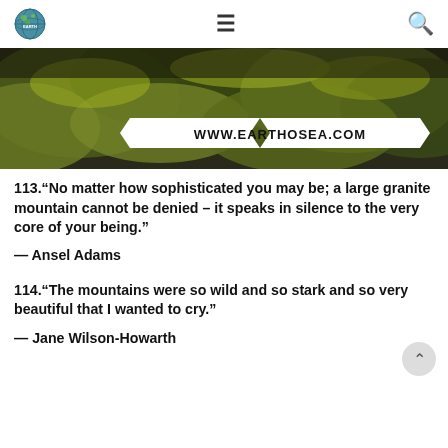www.earthosea.com navigation header with logo, hamburger menu, and search icon
[Figure (photo): Banner photo of a mossy green mountainside landscape with a white ribbon banner overlay showing 'WWW.EARTHOSEA.COM' in bold black text]
113.“No matter how sophisticated you may be; a large granite mountain cannot be denied – it speaks in silence to the very core of your being.”
— Ansel Adams
114.“The mountains were so wild and so stark and so very beautiful that I wanted to cry.”
— Jane Wilson-Howarth